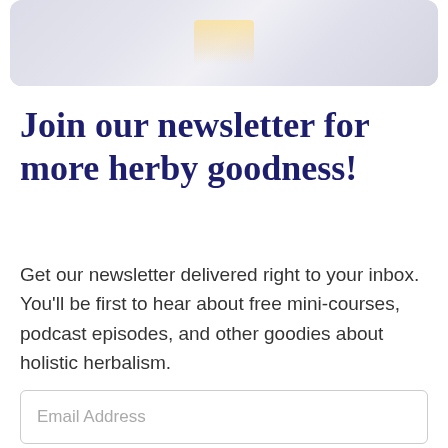[Figure (photo): Partial cropped photo of herbs or tea items on a light surface, shown at the top of the page]
Join our newsletter for more herby goodness!
Get our newsletter delivered right to your inbox. You'll be first to hear about free mini-courses, podcast episodes, and other goodies about holistic herbalism.
Email Address